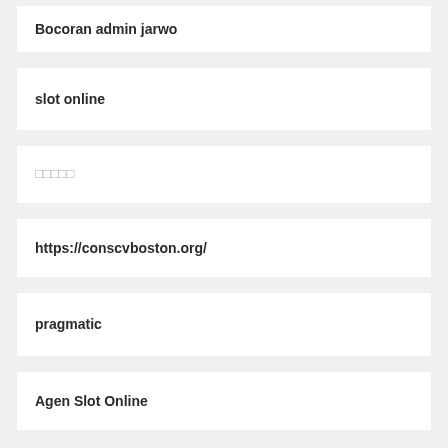Bocoran admin jarwo
slot online
□□□□□
https://conscvboston.org/
pragmatic
Agen Slot Online